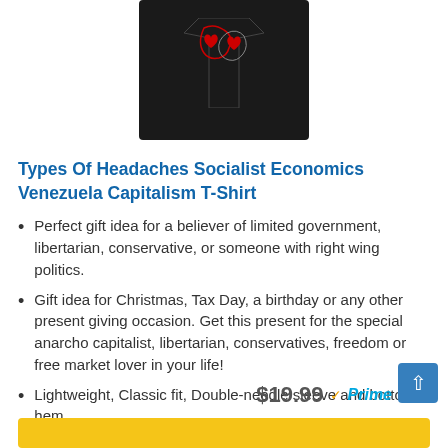[Figure (photo): Black t-shirt with a graphic design showing map outlines and red heart shapes, partially visible at top of page]
Types Of Headaches Socialist Economics Venezuela Capitalism T-Shirt
Perfect gift idea for a believer of limited government, libertarian, conservative, or someone with right wing politics.
Gift idea for Christmas, Tax Day, a birthday or any other present giving occasion. Get this present for the special anarcho capitalist, libertarian, conservatives, freedom or free market lover in your life!
Lightweight, Classic fit, Double-needle sleeve and bottom hem
$19.99 ✓Prime